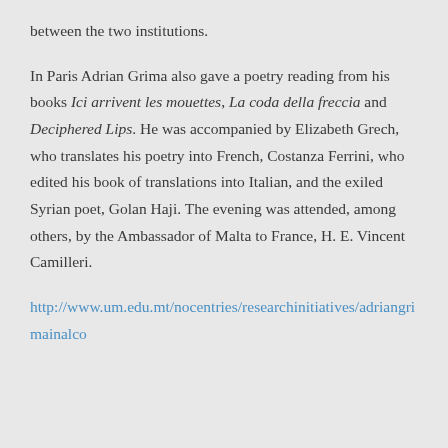between the two institutions.
In Paris Adrian Grima also gave a poetry reading from his books Ici arrivent les mouettes, La coda della freccia and Deciphered Lips. He was accompanied by Elizabeth Grech, who translates his poetry into French, Costanza Ferrini, who edited his book of translations into Italian, and the exiled Syrian poet, Golan Haji. The evening was attended, among others, by the Ambassador of Malta to France, H. E. Vincent Camilleri.
http://www.um.edu.mt/nocentries/researchinitiatives/adriangrimainalco